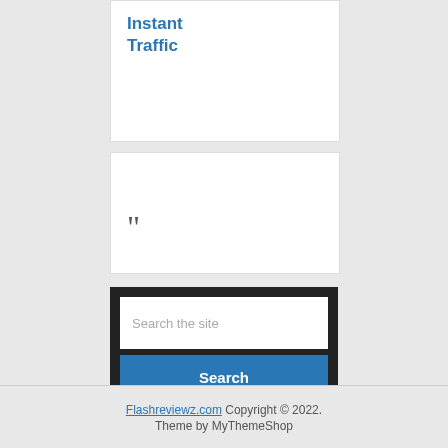Instant Traffic
[Figure (other): White card with open quote icon (large dark quotation marks)]
Search the site
Search
Flashreviewz.com Copyright © 2022. Theme by MyThemeShop